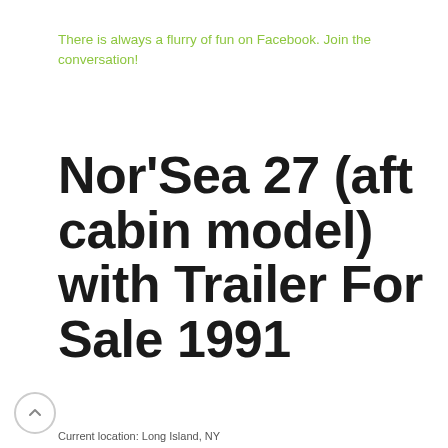There is always a flurry of fun on Facebook. Join the conversation!
Nor'Sea 27 (aft cabin model) with Trailer For Sale 1991
Current location: Long Island, NY